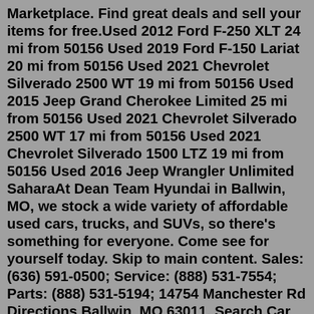Marketplace. Find great deals and sell your items for free.Used 2012 Ford F-250 XLT 24 mi from 50156 Used 2019 Ford F-150 Lariat 20 mi from 50156 Used 2021 Chevrolet Silverado 2500 WT 19 mi from 50156 Used 2015 Jeep Grand Cherokee Limited 25 mi from 50156 Used 2021 Chevrolet Silverado 2500 WT 17 mi from 50156 Used 2021 Chevrolet Silverado 1500 LTZ 19 mi from 50156 Used 2016 Jeep Wrangler Unlimited SaharaAt Dean Team Hyundai in Ballwin, MO, we stock a wide variety of affordable used cars, trucks, and SUVs, so there's something for everyone. Come see for yourself today. Skip to main content. Sales: (636) 591-0500; Service: (888) 531-7554; Parts: (888) 531-5194; 14754 Manchester Rd Directions Ballwin, MO 63011. Search.Car Rental Madrid. EasyTerra Car Rental Madrid is an independent car rental comparison site. Our system compares prices from well-known car rental companies so as a customer you can always reserve your rental car through us at a competitive rate. Popular rental locations in Madrid. The following rental locations